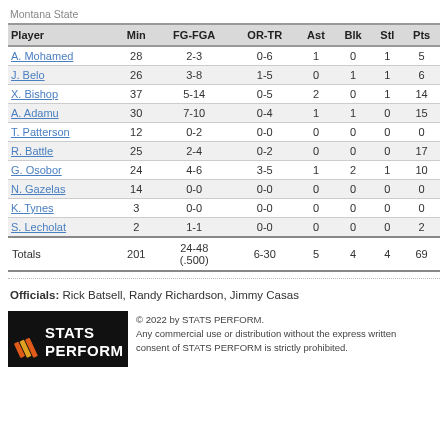Montana State
| Player | Min | FG-FGA | OR-TR | Ast | Blk | Stl | Pts |
| --- | --- | --- | --- | --- | --- | --- | --- |
| A. Mohamed | 28 | 2-3 | 0-6 | 1 | 0 | 1 | 5 |
| J. Belo | 26 | 3-8 | 1-5 | 0 | 1 | 1 | 6 |
| X. Bishop | 37 | 5-14 | 0-5 | 2 | 0 | 1 | 14 |
| A. Adamu | 30 | 7-10 | 0-4 | 1 | 1 | 0 | 15 |
| T. Patterson | 12 | 0-2 | 0-0 | 0 | 0 | 0 | 0 |
| R. Battle | 25 | 2-4 | 0-2 | 0 | 0 | 0 | 17 |
| G. Osobor | 24 | 4-6 | 3-5 | 1 | 2 | 1 | 10 |
| N. Gazelas | 14 | 0-0 | 0-0 | 0 | 0 | 0 | 0 |
| K. Tynes | 3 | 0-0 | 0-0 | 0 | 0 | 0 | 0 |
| S. Lecholat | 2 | 1-1 | 0-0 | 0 | 0 | 0 | 2 |
| Totals | 201 | 24-48 (.500) | 6-30 | 5 | 4 | 4 | 69 |
Officials: Rick Batsell, Randy Richardson, Jimmy Casas
[Figure (logo): STATS PERFORM logo]
© 2022 by STATS PERFORM. Any commercial use or distribution without the express written consent of STATS PERFORM is strictly prohibited.